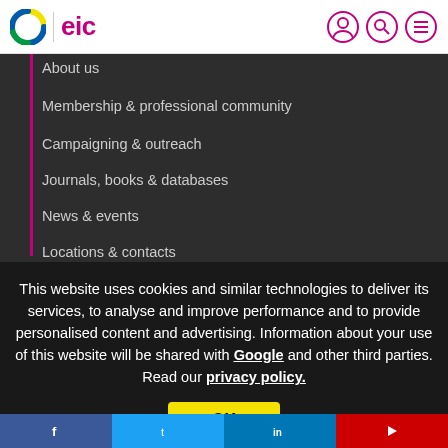EIC website header with logo and navigation icons
About us
Membership & professional community
Campaigning & outreach
Journals, books & databases
News & events
Locations & contacts
Careers
This website uses cookies and similar technologies to deliver its services, to analyse and improve performance and to provide personalised content and advertising. Information about your use of this website will be shared with Google and other third parties. Read our privacy policy.